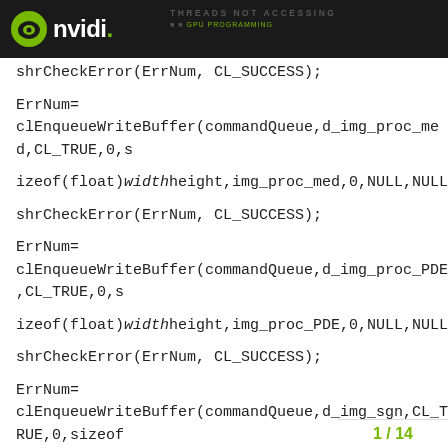THREADS NOT ACCESSING
shrCheckError(ErrNum, CL_SUCCESS);
ErrNum=
clEnqueueWriteBuffer(commandQueue,d_img_proc_med,CL_TRUE,0,s
izeof(float)*width*height,img_proc_med,0,NULL,NULL);
shrCheckError(ErrNum, CL_SUCCESS);
ErrNum=
clEnqueueWriteBuffer(commandQueue,d_img_proc_PDE,CL_TRUE,0,s
izeof(float)*width*height,img_proc_PDE,0,NULL,NULL);
shrCheckError(ErrNum, CL_SUCCESS);
ErrNum=
clEnqueueWriteBuffer(commandQueue,d_img_sgn,CL_TRUE,0,sizeof
1 / 14